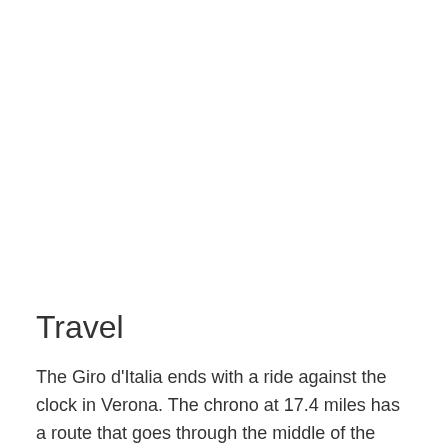Travel
The Giro d'Italia ends with a ride against the clock in Verona. The chrono at 17.4 miles has a route that goes through the middle of the